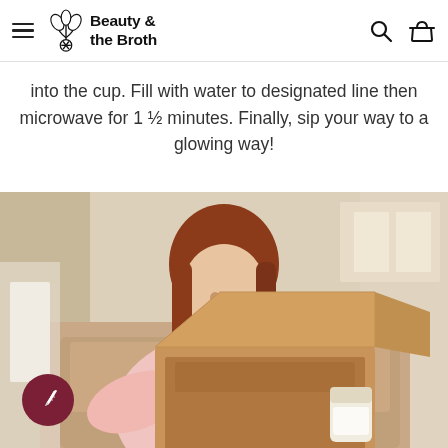Beauty & the Broth
into the cup. Fill with water to designated line then microwave for 1 ½ minutes. Finally, sip your way to a glowing way!
[Figure (photo): A smiling woman with red hair wearing a pink sweater, opening a cardboard box with Beauty & the Broth products inside, seated on a couch. A dark red circular badge with a feather/pen icon appears in the bottom-left corner of the image.]